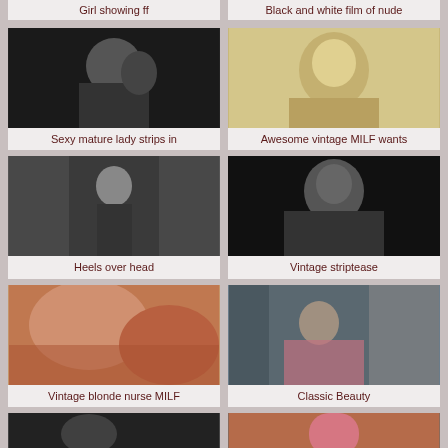Girl showing ff
Black and white film of nude
[Figure (photo): Black and white photo of mature lady]
Sexy mature lady strips in
[Figure (photo): Vintage sepia toned photo of blonde woman lying down]
Awesome vintage MILF wants
[Figure (photo): Black and white photo of woman in lingerie posing]
Heels over head
[Figure (photo): Black and white photo of woman]
Vintage striptease
[Figure (photo): Color close-up photo with warm tones]
Vintage blonde nurse MILF
[Figure (photo): Color photo of woman seated near radiator]
Classic Beauty
[Figure (photo): Partial photo at bottom left]
[Figure (photo): Partial photo at bottom right with pink object]